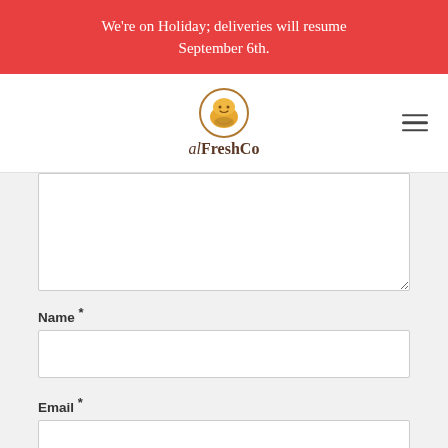We're on Holiday; deliveries will resume September 6th.
[Figure (logo): alFreshCo logo with cartoon bread/toast character icon and brand name text below]
[Comment textarea]
Name *
[Name input field]
Email *
[Email input field]
Website